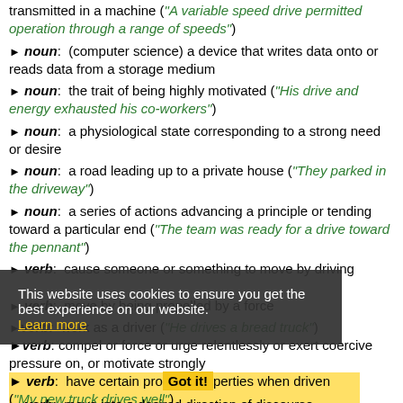► noun: a mechanism by which force or power is transmitted in a machine ("A variable speed drive permitted operation through a range of speeds")
► noun: (computer science) a device that writes data onto or reads data from a storage medium
► noun: the trait of being highly motivated ("His drive and energy exhausted his co-workers")
► noun: a physiological state corresponding to a strong need or desire
► noun: a road leading up to a private house ("They parked in the driveway")
► noun: a series of actions advancing a principle or tending toward a particular end ("The team was ready for a drive toward the pennant")
► verb: cause someone or something to move by driving
► verb: move by being propelled by a force
► verb: work as a driver ("He drives a bread truck")
► verb: compel or force or urge relentlessly or exert coercive pressure on, or motivate strongly ("She is driven by her passion")
► verb: have certain properties when driven ("My new truck drives well")
► verb: move into a desired direction of discourse
► verb: hunting: chase from cover into more open